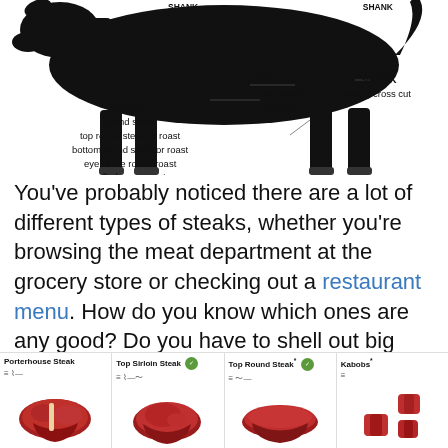[Figure (illustration): Diagram of a cow silhouette showing beef cuts: ROUND (round steak, top round steak or roast, bottom round steak or roast, eye of the round roast, rolled rump roast, standing rump roast), SHORT PLATE (skirt steak, short ribs), SHANK (shank cross cut), FLANK (flank steak, flank steak rolls). Labels SHANK appear at top-left and top-right of diagram.]
You've probably noticed there are a lot of different types of steaks, whether you're browsing the meat department at the grocery store or checking out a restaurant menu. How do you know which ones are any good? Do you have to shell out big bucks to get a decent steak? Hint: not necessarily.
[Figure (photo): Four beef cut product photos in a row: Porterhouse Steak, Top Sirloin Steak (with green USDA badge), Top Round Steak* (with green USDA badge), Kabobs* — each showing raw red meat on white background.]